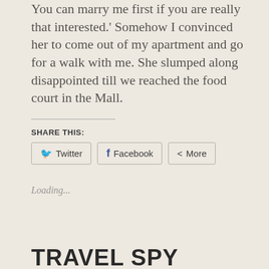You can marry me first if you are really that interested.' Somehow I convinced her to come out of my apartment and go for a walk with me. She slumped along disappointed till we reached the food court in the Mall.
SHARE THIS:
Twitter  Facebook  More
Loading...
TRAVEL SPY